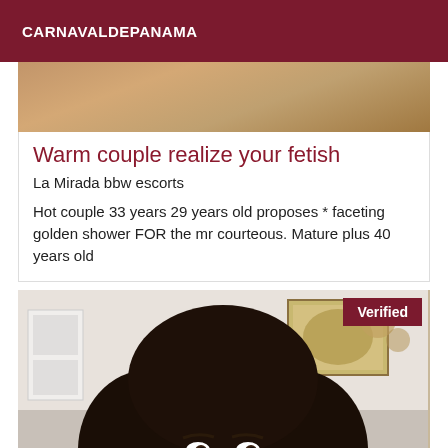CARNAVALDEPANAMA
[Figure (photo): Partial photo of person at top of first listing card]
Warm couple realize your fetish
La Mirada bbw escorts
Hot couple 33 years 29 years old proposes * faceting golden shower FOR the mr courteous. Mature plus 40 years old
[Figure (photo): Photo of a woman with dark hair, Verified badge in top right corner]